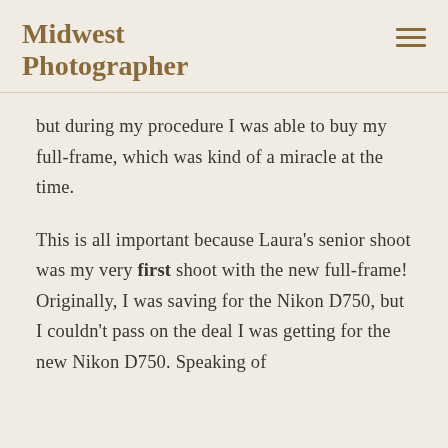Midwest Photographer
but during my procedure I was able to buy my full-frame, which was kind of a miracle at the time.
This is all important because Laura's senior shoot was my very first shoot with the new full-frame! Originally, I was saving for the Nikon D750, but I couldn't pass on the deal I was getting for the new Nikon D750. Speaking of